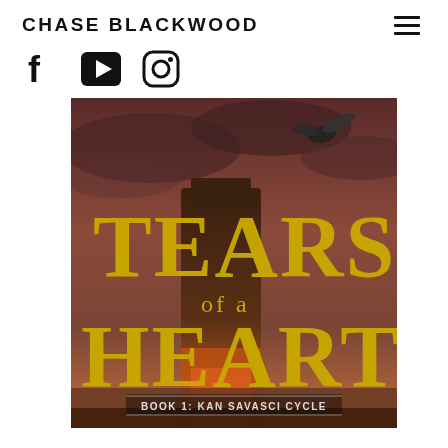CHASE BLACKWOOD
[Figure (illustration): Social media icons: Facebook (f), YouTube (play button square), Instagram (camera outline)]
[Figure (illustration): Book cover for 'Tears of a Heart, Book 1: Kan Savasci Cycle' by Chase Blackwood. Fantasy book cover with dark moody sky, castle tower ruins, a flying dragon in the upper right, and large gold serif text reading 'TEARS of a HEART' with subtitle 'BOOK 1: KAN SAVASCI CYCLE' in white/grey text at the bottom.]